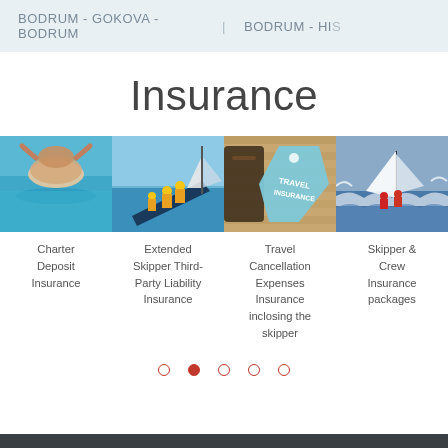BODRUM - GOKOVA - BODRUM  |  BODRUM - HIS
Insurance
[Figure (photo): Person swimming in turquoise sea, back view, hands on head]
Charter Deposit Insurance
[Figure (photo): Sailboat heeling dramatically with crew in yellow jackets]
Extended Skipper Third-Party Liability Insurance
[Figure (photo): Travel insurance tag on wooden surface with luggage]
Travel Cancellation Expenses Insurance inclosing the skipper
[Figure (photo): Sailboat sailing in rough seas with crew in red jackets]
Skipper & Crew Insurance packages